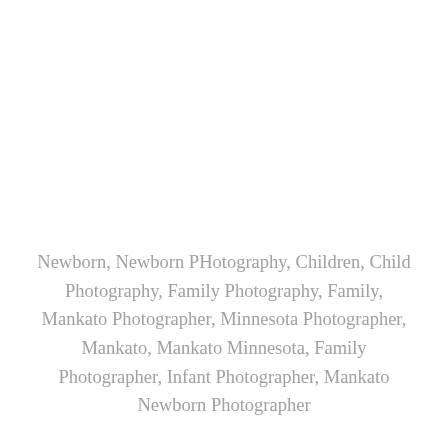Newborn, Newborn PHotography, Children, Child Photography, Family Photography, Family, Mankato Photographer, Minnesota Photographer, Mankato, Mankato Minnesota, Family Photographer, Infant Photographer, Mankato Newborn Photographer